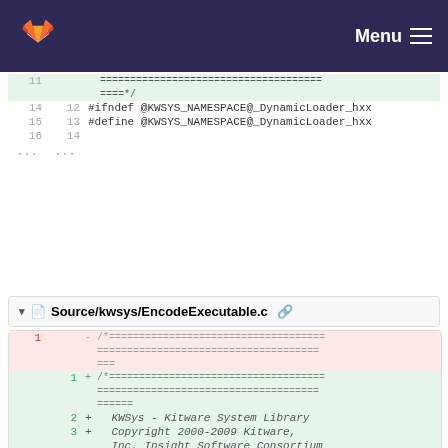GitLab — Menu
[Figure (screenshot): Diff view top panel showing lines 14-16 and ellipsis of a file with #ifndef and #define @KWSYS_NAMESPACE@_DynamicLoader_hxx]
▼ 📄 Source/kwsys/EncodeExecutable.c 🔗
[Figure (screenshot): Diff view bottom panel for EncodeExecutable.c showing removed line 1 (red) and added lines 1-3 (green) with comment banner and KWSys - Kitware System Library text]